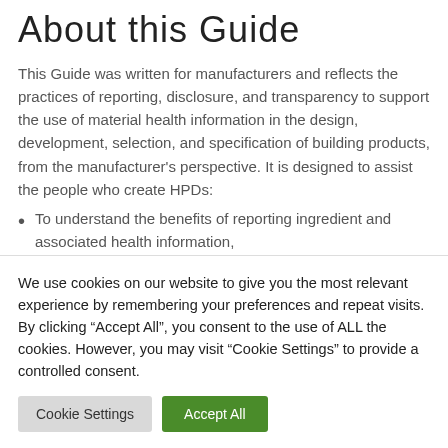About this Guide
This Guide was written for manufacturers and reflects the practices of reporting, disclosure, and transparency to support the use of material health information in the design, development, selection, and specification of building products, from the manufacturer's perspective. It is designed to assist the people who create HPDs:
To understand the benefits of reporting ingredient and associated health information,
We use cookies on our website to give you the most relevant experience by remembering your preferences and repeat visits. By clicking “Accept All”, you consent to the use of ALL the cookies. However, you may visit “Cookie Settings” to provide a controlled consent.